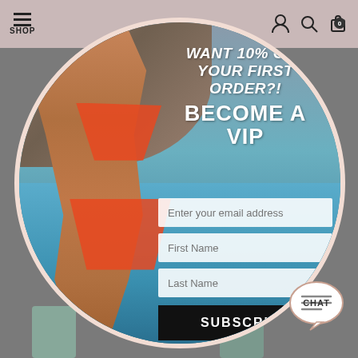SHOP
[Figure (photo): Circular modal popup showing a woman in an orange bikini standing near blue water and rocks, with a promotional signup form overlay]
WANT 10% OFF YOUR FIRST ORDER?! BECOME A VIP
Enter your email address
First Name
Last Name
SUBSCRIBE
[Figure (illustration): Chat bubble icon with the word CHAT]